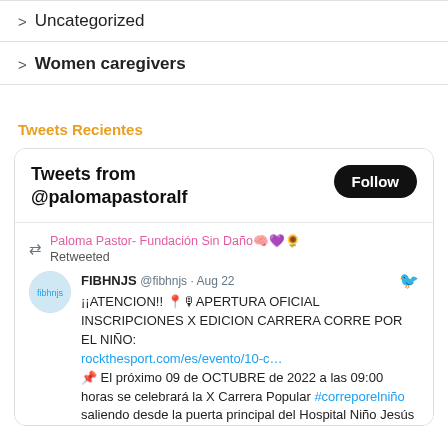> Uncategorized
> Women caregivers
Tweets Recientes
[Figure (screenshot): Embedded Twitter widget showing tweets from @palomapastoralf with a Follow button, and a retweet from FIBHNJS @fibhnjs on Aug 22 about APERTURA OFICIAL INSCRIPCIONES X EDICION CARRERA CORRE POR EL NIÑO with a link to rockthesport.com and text about 09 de OCTUBRE de 2022 at 09:00 horas, X Carrera Popular #correporelniño from Hospital Niño Jesús.]